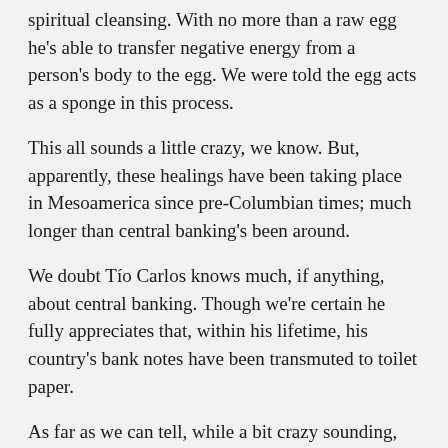spiritual cleansing. With no more than a raw egg he's able to transfer negative energy from a person's body to the egg. We were told the egg acts as a sponge in this process.
This all sounds a little crazy, we know. But, apparently, these healings have been taking place in Mesoamerica since pre-Columbian times; much longer than central banking's been around.
We doubt Tío Carlos knows much, if anything, about central banking. Though we're certain he fully appreciates that, within his lifetime, his country's bank notes have been transmuted to toilet paper.
As far as we can tell, while a bit crazy sounding, Limpias are generally harmless. Central banking, on the other hand, is categorically insane.